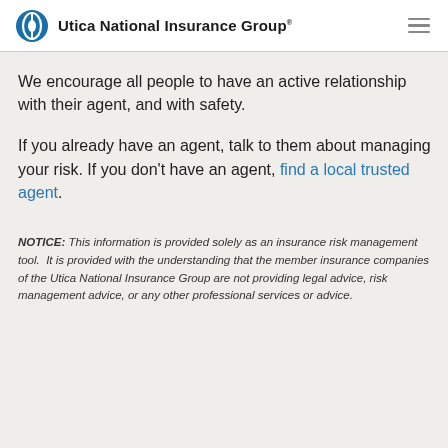Utica National Insurance Group
We encourage all people to have an active relationship with their agent, and with safety.
If you already have an agent, talk to them about managing your risk. If you don't have an agent, find a local trusted agent.
NOTICE: This information is provided solely as an insurance risk management tool.  It is provided with the understanding that the member insurance companies of the Utica National Insurance Group are not providing legal advice, risk management advice, or any other professional services or advice.